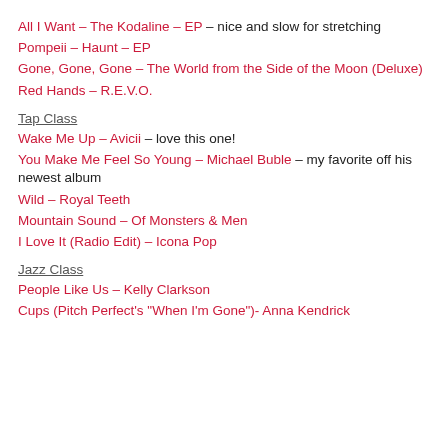All I Want – The Kodaline – EP – nice and slow for stretching
Pompeii – Haunt – EP
Gone, Gone, Gone – The World from the Side of the Moon (Deluxe)
Red Hands – R.E.V.O.
Tap Class
Wake Me Up – Avicii – love this one!
You Make Me Feel So Young – Michael Buble – my favorite off his newest album
Wild – Royal Teeth
Mountain Sound – Of Monsters & Men
I Love It (Radio Edit) – Icona Pop
Jazz Class
People Like Us – Kelly Clarkson
Cups (Pitch Perfect's "When I'm Gone")- Anna Kendrick